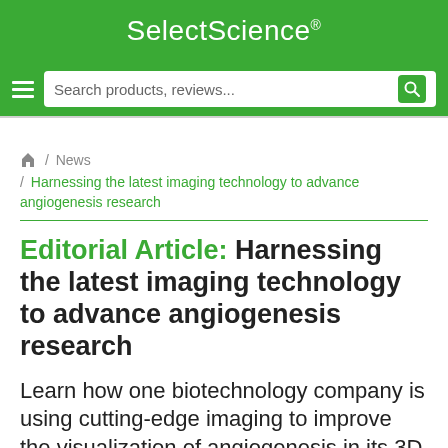SelectScience®
Search products, reviews...
🏠 / News / Harnessing the latest imaging technology to advance angiogenesis research
Editorial Article: Harnessing the latest imaging technology to advance angiogenesis research
Learn how one biotechnology company is using cutting-edge imaging to improve the visualization of angiogenesis in its 3D tissue models